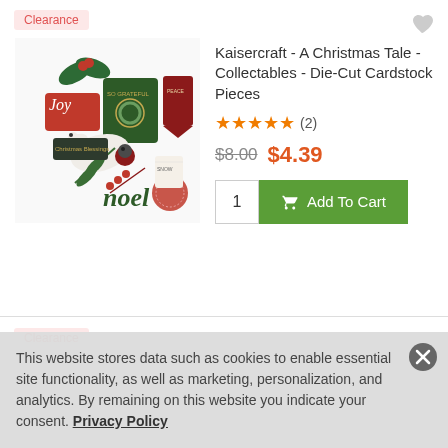Clearance
[Figure (illustration): Christmas collectables die-cut cardstock pieces including 'Joy', 'Noel', holly, birds, tags, and decorative elements in red and green]
Kaisercraft - A Christmas Tale - Collectables - Die-Cut Cardstock Pieces
★★★★★ (2)
$8.00  $4.39
1  Add To Cart
Clearance
This website stores data such as cookies to enable essential site functionality, as well as marketing, personalization, and analytics. By remaining on this website you indicate your consent. Privacy Policy